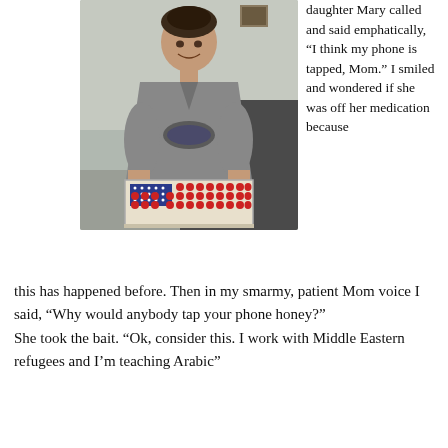[Figure (photo): A woman smiling and holding a rectangular cake decorated to look like the American flag, with strawberries forming stripes and blueberries in the corner as stars.]
daughter Mary called and said emphatically, “I think my phone is tapped, Mom.” I smiled and wondered if she was off her medication because
this has happened before. Then in my smarmy, patient Mom voice I said, “Why would anybody tap your phone honey?”
She took the bait. “Ok, consider this. I work with Middle Eastern refugees and I’m teaching Arabic”